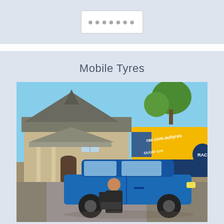[Figure (other): Licence plate box shown at top of page, partially visible]
Mobile Tyres
[Figure (photo): Photo of an RAC mobile tyre technician fitting a tyre on a blue car outside a residential house. A yellow RAC van with 'rac.com.au/tyres' and 'Mobile tyre' text is visible in the background.]